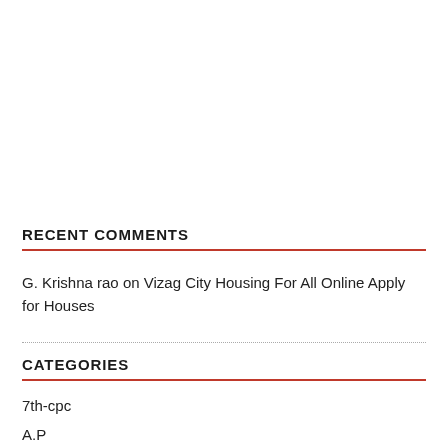RECENT COMMENTS
G. Krishna rao on Vizag City Housing For All Online Apply for Houses
CATEGORIES
7th-cpc
A.P